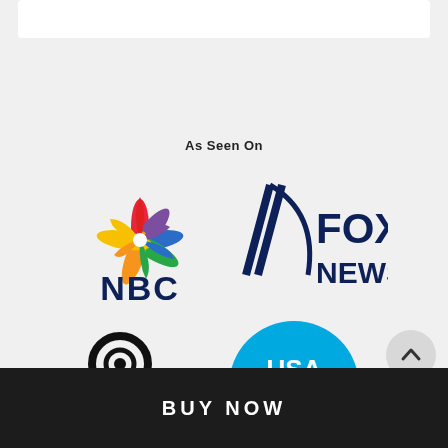As Seen On
[Figure (logo): NBC peacock logo with colorful feathers and NBC text in dark navy]
[Figure (logo): Fox News logo with diagonal slash marks and FOX NEWS text in dark navy]
[Figure (logo): CBS eye logo with CBS text in black]
[Figure (logo): USA TODAY logo white text on blue circle]
BUY NOW